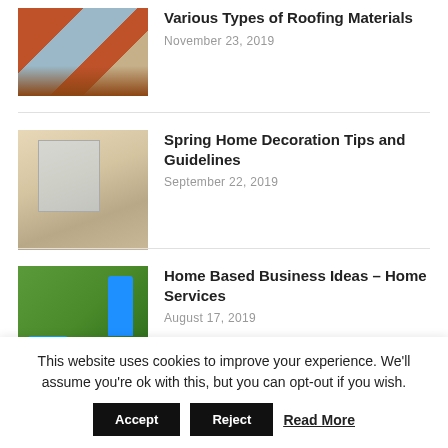[Figure (photo): Layered roofing materials cross-section illustration]
Various Types of Roofing Materials
November 23, 2019
[Figure (photo): Bright interior living room with chairs and coffee table]
Spring Home Decoration Tips and Guidelines
September 22, 2019
[Figure (photo): Green cleaning supplies and spray bottles on blurred background]
Home Based Business Ideas – Home Services
August 17, 2019
[Figure (photo): Grid/net pattern background image]
On the net Get
This website uses cookies to improve your experience. We'll assume you're ok with this, but you can opt-out if you wish.
Accept   Reject   Read More